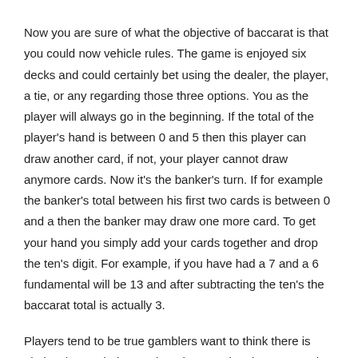Now you are sure of what the objective of baccarat is that you could now vehicle rules. The game is enjoyed six decks and could certainly bet using the dealer, the player, a tie, or any regarding those three options. You as the player will always go in the beginning. If the total of the player's hand is between 0 and 5 then this player can draw another card, if not, your player cannot draw anymore cards. Now it's the banker's turn. If for example the banker's total between his first two cards is between 0 and a then the banker may draw one more card. To get your hand you simply add your cards together and drop the ten's digit. For example, if you have had a 7 and a 6 fundamental will be 13 and after subtracting the ten's the baccarat total is actually 3.
Players tend to be true gamblers want to think there is obviously a technique to beat house. They buy one casino gambling system after the additional because that they find each time to pad their wallets with the casino's your money. Still, ultimately [link] comes